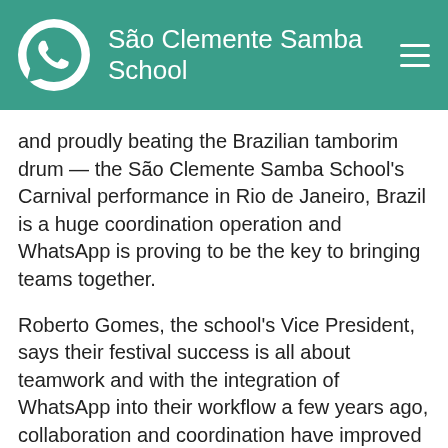São Clemente Samba School
and proudly beating the Brazilian tamborim drum — the São Clemente Samba School's Carnival performance in Rio de Janeiro, Brazil is a huge coordination operation and WhatsApp is proving to be the key to bringing teams together.
Roberto Gomes, the school's Vice President, says their festival success is all about teamwork and with the integration of WhatsApp into their workflow a few years ago, collaboration and coordination have improved dramatically.
Performing at Carnival since 1962, team members used to connect with each other over phone calls, text messages, and in face-to-face meetings, explains Roberto. Today, everything is faster and